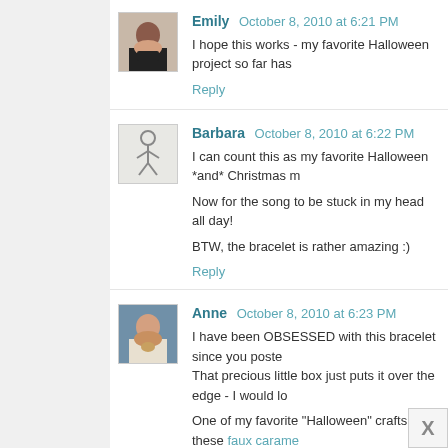Emily October 8, 2010 at 6:21 PM
I hope this works - my favorite Halloween project so far has
Reply
Barbara October 8, 2010 at 6:22 PM
I can count this as my favorite Halloween *and* Christmas m
Now for the song to be stuck in my head all day!
BTW, the bracelet is rather amazing :)
Reply
Anne October 8, 2010 at 6:23 PM
I have been OBSESSED with this bracelet since you poste That precious little box just puts it over the edge - I would lo
One of my favorite "Halloween" crafts is these faux carame stuffed candy corns I made last year. :)
Reply